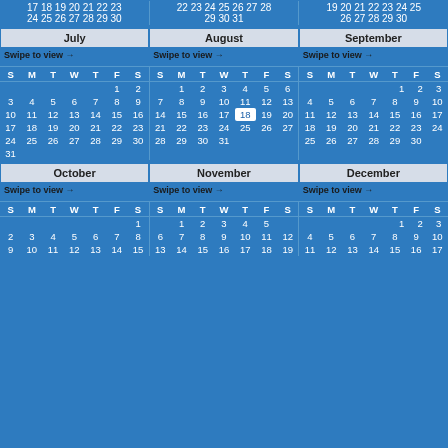|  |  |  |
| --- | --- | --- |
| 17 18 19 20 21 22 23 | 22 23 24 25 26 27 28 | 19 20 21 22 23 24 25 |
| 24 25 26 27 28 29 30 | 29 30 31 | 26 27 28 29 30 |
| July | August | September |
| --- | --- | --- |
| Swipe to view → | Swipe to view → | Swipe to view → |
| S M T W T F S | S M T W T F S | S M T W T F S |
|       1  2 |    1  2  3  4  5  6 |          1  2  3 |
| 3  4  5  6  7  8  9 | 7  8  9 10 11 12 13 | 4  5  6  7  8  9 10 |
| 10 11 12 13 14 15 16 | 14 15 16 17 18 19 20 | 11 12 13 14 15 16 17 |
| 17 18 19 20 21 22 23 | 21 22 23 24 25 26 27 | 18 19 20 21 22 23 24 |
| 24 25 26 27 28 29 30 | 28 29 30 31 | 25 26 27 28 29 30 |
| 31 |  |  |
| October | November | December |
| --- | --- | --- |
| Swipe to view → | Swipe to view → | Swipe to view → |
| S M T W T F S | S M T W T F S | S M T W T F S |
|             1 |    1  2  3  4  5 |          1  2  3 |
| 2  3  4  5  6  7  8 | 6  7  8  9 10 11 12 | 4  5  6  7  8  9 10 |
| 9 10 11 12 13 14 15 | 13 14 15 16 17 18 19 | 11 12 13 14 15 16 17 |